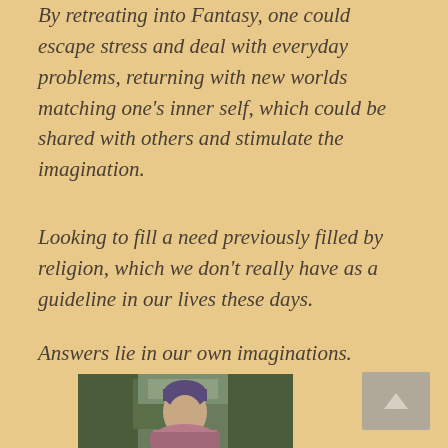By retreating into Fantasy, one could escape stress and deal with everyday problems, returning with new worlds matching one's inner self, which could be shared with others and stimulate the imagination.
Looking to fill a need previously filled by religion, which we don't really have as a guideline in our lives these days.
Answers lie in our own imaginations.
[Figure (photo): A person wearing a purple/blue beanie hat and a pink/mauve scarf or wrap, standing outdoors with trees in the background. The photo is cropped showing the person from roughly the shoulders up, looking slightly upward.]